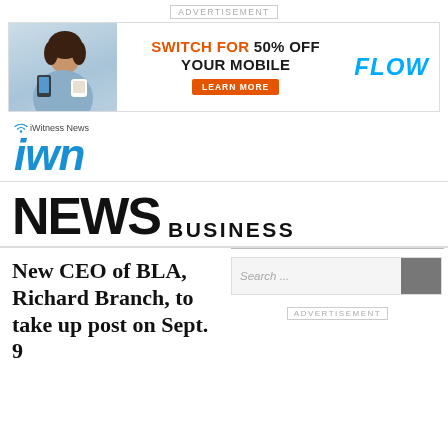ADVERTISEMENT
[Figure (other): Flow mobile carrier advertisement banner: woman holding phone and coffee cup, orange text 'SWITCH FOR 50% OFF YOUR MOBILE', orange 'LEARN MORE' button, blue italic 'FLOW' logo]
[Figure (logo): iWitness News IWN logo in blue with wifi signal icon]
NEWS BUSINESS
New CEO of BLA, Richard Branch, to take up post on Sept. 9
Search ...
ADVERTISEMENT